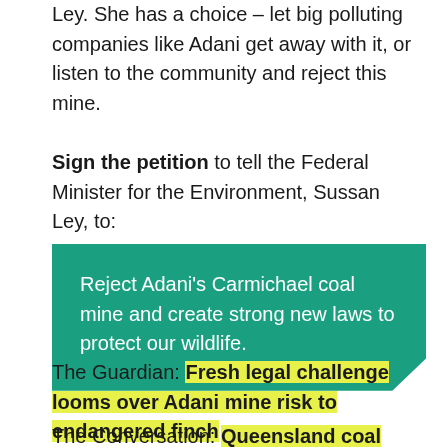Ley. She has a choice – let big polluting companies like Adani get away with it, or listen to the community and reject this mine.
Sign the petition to tell the Federal Minister for the Environment, Sussan Ley, to:
Reject Adani's Carmichael coal mine and create strong new laws to protect our wildlife.
The Guardian: Fresh legal challenge looms over Adani mine risk to endangered finch
The Conversation: Queensland coal mines will